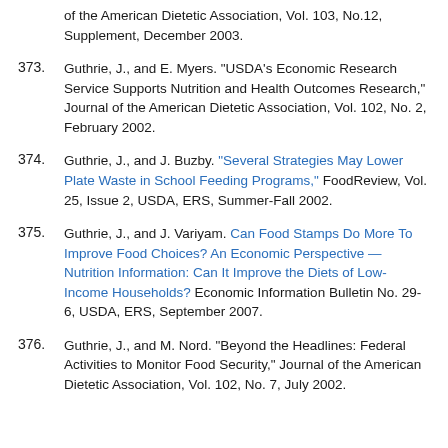of the American Dietetic Association, Vol. 103, No.12, Supplement, December 2003.
373. Guthrie, J., and E. Myers. "USDA's Economic Research Service Supports Nutrition and Health Outcomes Research," Journal of the American Dietetic Association, Vol. 102, No. 2, February 2002.
374. Guthrie, J., and J. Buzby. "Several Strategies May Lower Plate Waste in School Feeding Programs," FoodReview, Vol. 25, Issue 2, USDA, ERS, Summer-Fall 2002.
375. Guthrie, J., and J. Variyam. Can Food Stamps Do More To Improve Food Choices? An Economic Perspective — Nutrition Information: Can It Improve the Diets of Low-Income Households? Economic Information Bulletin No. 29-6, USDA, ERS, September 2007.
376. Guthrie, J., and M. Nord. "Beyond the Headlines: Federal Activities to Monitor Food Security," Journal of the American Dietetic Association, Vol. 102, No. 7, July 2002.